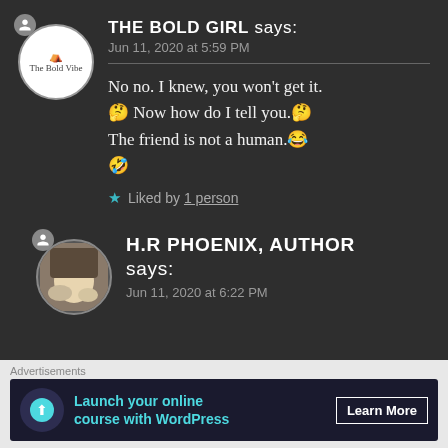THE BOLD GIRL says: Jun 11, 2020 at 5:59 PM
No no. I knew, you won't get it. 🤔 Now how do I tell you.🤔 The friend is not a human.😂 🤣
★ Liked by 1 person
H.R PHOENIX, AUTHOR says: Jun 11, 2020 at 6:22 PM
Advertisements
Launch your online course with WordPress
Learn More